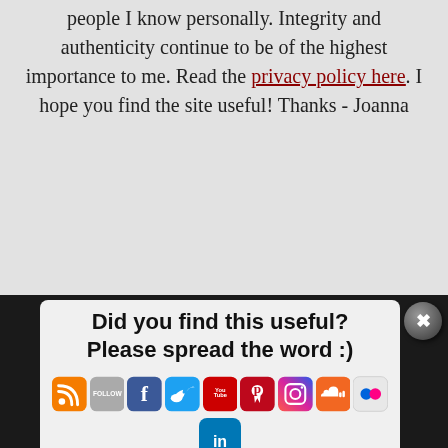people I know personally. Integrity and authenticity continue to be of the highest importance to me. Read the privacy policy here. I hope you find the site useful! Thanks - Joanna
[Figure (screenshot): A popup modal with text 'Did you find this useful? Please spread the word :)' and social media icons (RSS, Follow, Facebook, Twitter, YouTube, Pinterest, Instagram, SoundCloud, Flickr, LinkedIn). A circular close (X) button appears at top-right corner.]
website. If you continue to use this site, I will assume that you are happy with this. Thank you.
Ok
Read more